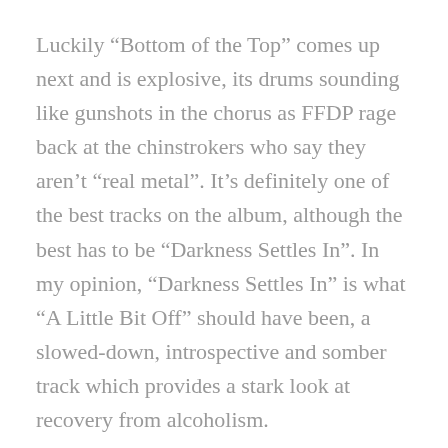Luckily “Bottom of the Top” comes up next and is explosive, its drums sounding like gunshots in the chorus as FFDP rage back at the chinstrokers who say they aren’t “real metal”. It’s definitely one of the best tracks on the album, although the best has to be “Darkness Settles In”. In my opinion, “Darkness Settles In” is what “A Little Bit Off” should have been, a slowed-down, introspective and somber track which provides a stark look at recovery from alcoholism.
The rest of the album putters along, with a couple more decent tracks like “Brighter Side of Grey” and “To Be Alone”, but most of the rest are unremarkable (although “This Is War” is “classic” FFDP in all the wrong ways, as are the two bonus tracks on the